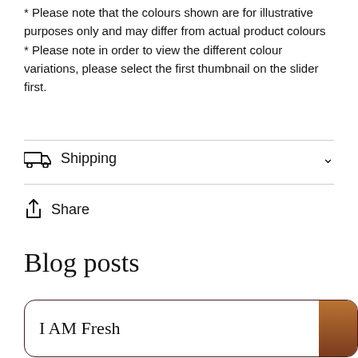* Please note that the colours shown are for illustrative purposes only and may differ from actual product colours
* Please note in order to view the different colour variations, please select the first thumbnail on the slider first.
Shipping
Share
Blog posts
I AM Fresh